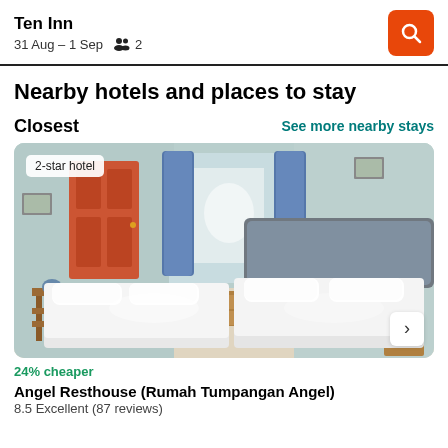Ten Inn
31 Aug – 1 Sep   2
Nearby hotels and places to stay
Closest
See more nearby stays
[Figure (photo): Hotel bedroom photo showing two single beds with white bedding, a gray headboard, blue curtains, an orange/red door, light green walls, a wooden side table. Badge says '2-star hotel'. Arrow button on right side.]
24% cheaper
Angel Resthouse (Rumah Tumpangan Angel)
8.5 Excellent (87 reviews)